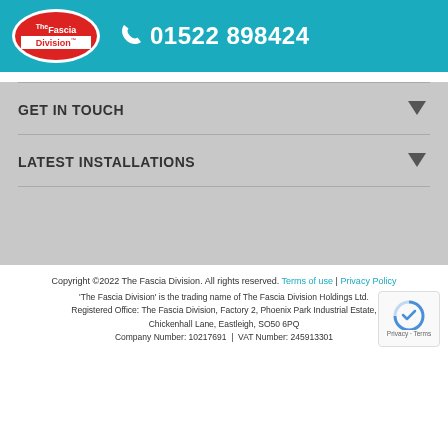[Figure (logo): The Fascia Division logo — red oval with white text, and phone number 01522 898424]
GET IN TOUCH
LATEST INSTALLATIONS
Copyright ©2022 The Fascia Division. All rights reserved. Terms of use | Privacy Policy
'The Fascia Division' is the trading name of The Fascia Division Holdings Ltd. Registered Office: The Fascia Division, Factory 2, Phoenix Park Industrial Estate, Chickenhall Lane, Eastleigh, SO50 6PQ Company Number: 10217691  |  VAT Number: 245913301